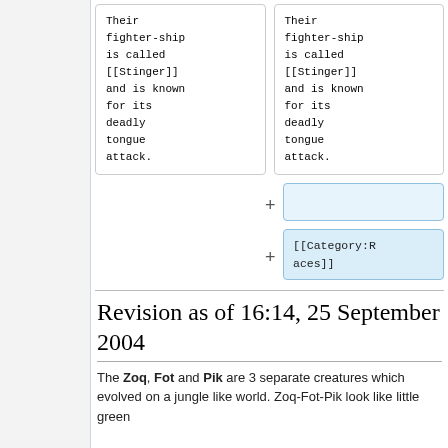| Their fighter-ship is called [[Stinger]] and is known for its deadly tongue attack. | Their fighter-ship is called [[Stinger]] and is known for its deadly tongue attack. |
+ (empty diff box)
+ [[Category:Races]]
Revision as of 16:14, 25 September 2004
The Zoq, Fot and Pik are 3 separate creatures which evolved on a jungle like world. Zoq-Fot-Pik look like little green